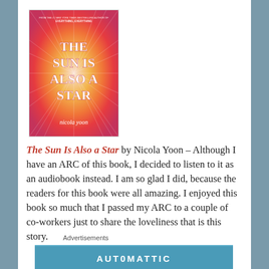[Figure (illustration): Book cover of 'The Sun Is Also a Star' by Nicola Yoon — colorful starburst pattern in red, orange, yellow, and pink with white bold title text and author name at bottom.]
The Sun Is Also a Star by Nicola Yoon – Although I have an ARC of this book, I decided to listen to it as an audiobook instead. I am so glad I did, because the readers for this book were all amazing. I enjoyed this book so much that I passed my ARC to a couple of co-workers just to share the loveliness that is this story.
Advertisements
[Figure (logo): Automattic advertisement banner — blue rectangle with 'AUTOMATTIC' text in white uppercase letters]